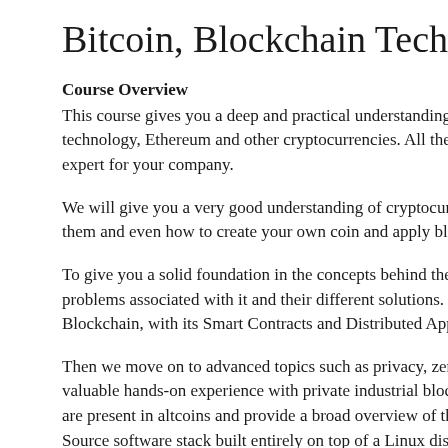Bitcoin, Blockchain Technolog…
Course Overview
This course gives you a deep and practical understanding a… technology, Ethereum and other cryptocurrencies. All the m… expert for your company.
We will give you a very good understanding of cryptocurren… them and even how to create your own coin and apply bloc…
To give you a solid foundation in the concepts behind these… problems associated with it and their different solutions. Th… Blockchain, with its Smart Contracts and Distributed App d…
Then we move on to advanced topics such as privacy, zero-… valuable hands-on experience with private industrial blocke… are present in altcoins and provide a broad overview of the… Source software stack built entirely on top of a Linux distrib…
We look at the process of creating your own crypto currenc…
Course participants receive a secure hardware wallet wher…